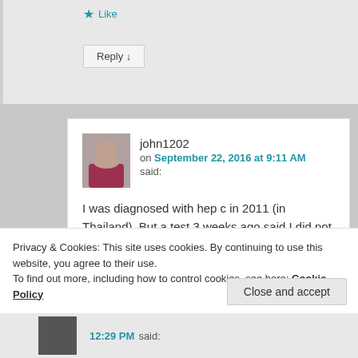Like
Reply ↓
john1202
on September 22, 2016 at 9:11 AM said:
I was diagnosed with hep c in 2011 (in Thailand). But a test 3 weeks ago said I did not have it. I have been dry fasting regularly (and water fasting) since 2013.
Privacy & Cookies: This site uses cookies. By continuing to use this website, you agree to their use.
To find out more, including how to control cookies, see here: Cookie Policy
Close and accept
12:29 PM said: